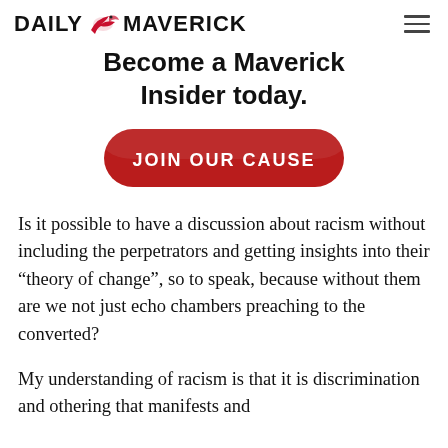DAILY MAVERICK
Become a Maverick Insider today.
[Figure (other): Red pill-shaped button with white bold text reading JOIN OUR CAUSE]
Is it possible to have a discussion about racism without including the perpetrators and getting insights into their “theory of change”, so to speak, because without them are we not just echo chambers preaching to the converted?
My understanding of racism is that it is discrimination and othering that manifests and